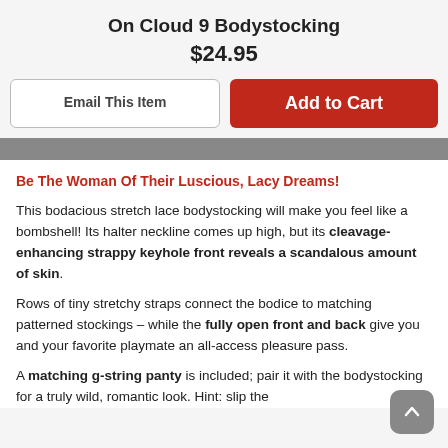On Cloud 9 Bodystocking
$24.95
Email This Item
Add to Cart
Be The Woman Of Their Luscious, Lacy Dreams!
This bodacious stretch lace bodystocking will make you feel like a bombshell! Its halter neckline comes up high, but its cleavage-enhancing strappy keyhole front reveals a scandalous amount of skin.
Rows of tiny stretchy straps connect the bodice to matching patterned stockings – while the fully open front and back give you and your favorite playmate an all-access pleasure pass.
A matching g-string panty is included; pair it with the bodystocking for a truly wild, romantic look. Hint: slip the